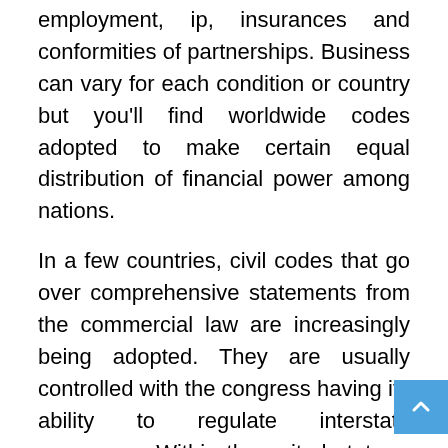employment, ip, insurances and conformities of partnerships. Business can vary for each condition or country but you'll find worldwide codes adopted to make certain equal distribution of financial power among nations.
In a few countries, civil codes that go over comprehensive statements from the commercial law are increasingly being adopted. They are usually controlled with the congress having its ability to regulate interstate commerce. Within the united states . States, unions are produced to market a uniform body of economic law which has brought towards the adoption in the uniform commercial code that's presently being adopted with the 50